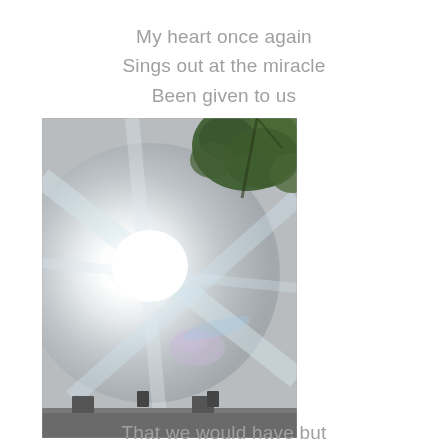My heart once again
Sings out at the miracle
Been given to us
[Figure (photo): A bright sun photographed against a hazy sky with lens flare/light rays radiating outward and tree branches with green leaves visible in the upper right corner. Dark building structures are visible at the bottom of the image.]
That we would have but